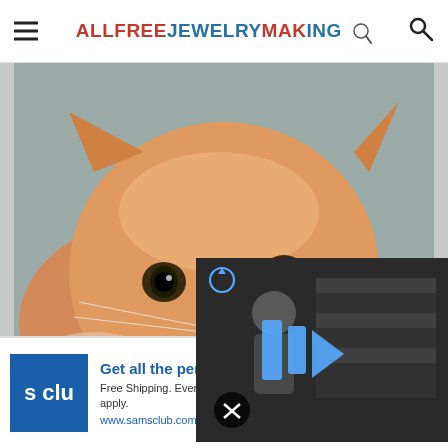ALLFREEJEWELRYMAKING
[Figure (photo): Close-up photo of an orange tabby cat looking at camera, being held by a person's hand. The cat has fluffy fur and bright eyes.]
[Figure (screenshot): Semi-transparent dark video player overlay showing a person in a room with bookshelves; large blue play button icon in the center, a mute/unmute button in the lower left, and a refresh icon in the upper left.]
Cat have loose stools? stools in as 'little as 24
Hill's Pet
[Figure (screenshot): Sam's Club advertisement banner. Blue square logo with 's clu' text. Headline: Get all the perks with Plus. Body: Free Shipping. Every day at SamsClub.com. Exclusions apply. URL: www.samsclub.com. Blue circular arrow button on right.]